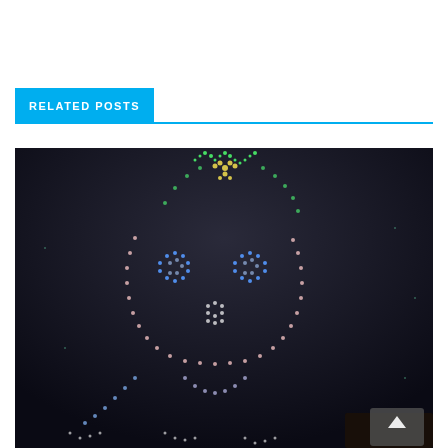RELATED POSTS
[Figure (photo): Night sky drone light show forming a cartoon character (appears to be an anime/game character face with large eyes and hat) made of hundreds of colorful LED drones against a dark sky]